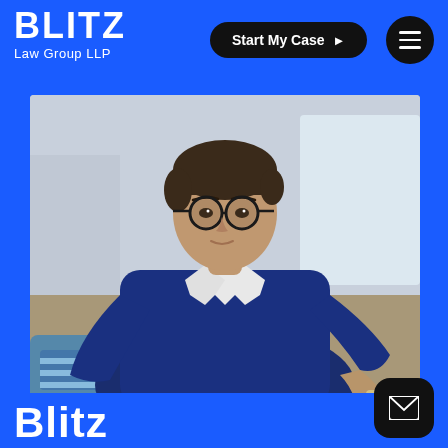BLITZ
Law Group LLP
Start My Case ▶
[Figure (photo): Professional man wearing glasses and navy blue sweater over white collared shirt, seated, looking at camera, in an interior setting]
Blitz